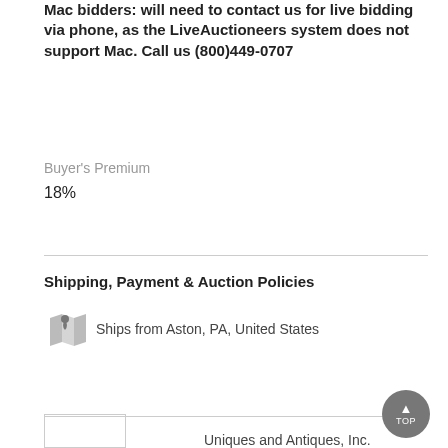Mac bidders: will need to contact us for live bidding via phone, as the LiveAuctioneers system does not support Mac. Call us (800)449-0707
Buyer's Premium
18%
Shipping, Payment & Auction Policies
Ships from Aston, PA, United States
View Shipping, Payment & Auction Policies
Uniques and Antiques, Inc.